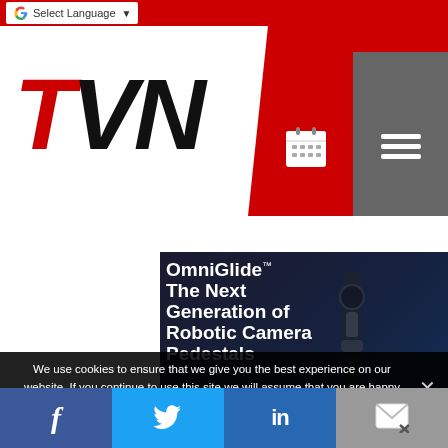TVN - Select Language
[Figure (screenshot): OmniGlide - The Next Generation of Robotic Camera Pedestals product advertisement image on dark background with robotic pedestal device]
We use cookies to ensure that we give you the best experience on our website. If you continue to use this site we will assume that you are happy with it.
Social share bar: Facebook, Twitter, LinkedIn, Email